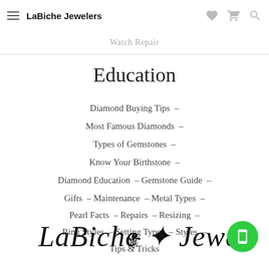LaBiche Jewelers
Watch Repair
Education
Diamond Buying Tips –
Most Famous Diamonds –
Types of Gemstones –
Know Your Birthstone –
Diamond Education – Gemstone Guide –
Gifts – Maintenance – Metal Types –
Pearl Facts – Repairs – Resizing –
Ring Styles – Setting Types – Styles –
Tips & Tricks
[Figure (logo): LaBiche Jewelers script logo with fleur-de-lis]